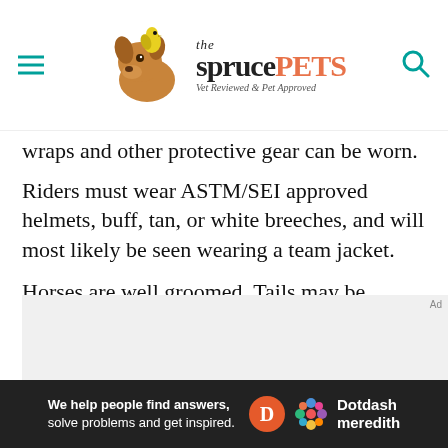the spruce PETS — Vet Reviewed & Pet Approved
wraps and other protective gear can be worn.
Riders must wear ASTM/SEI approved helmets, buff, tan, or white breeches, and will most likely be seen wearing a team jacket.
Horses are well groomed. Tails may be braided and manes will be pulled and may be braided.
[Figure (other): Gray advertisement placeholder area with 'Ad' label]
We help people find answers, solve problems and get inspired. Dotdash meredith